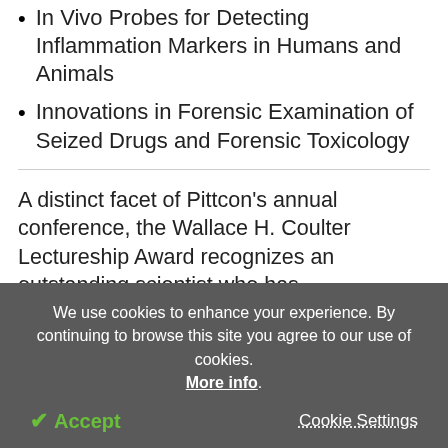In Vivo Probes for Detecting Inflammation Markers in Humans and Animals
Innovations in Forensic Examination of Seized Drugs and Forensic Toxicology
A distinct facet of Pittcon's annual conference, the Wallace H. Coulter Lectureship Award recognizes an outstanding scientist who has demonstrated a lifetime commitment to science, having made important contributions with a significant impact on scientific education, practice, and/or research within the field of
We use cookies to enhance your experience. By continuing to browse this site you agree to our use of cookies. More info.
✔ Accept   Cookie Settings